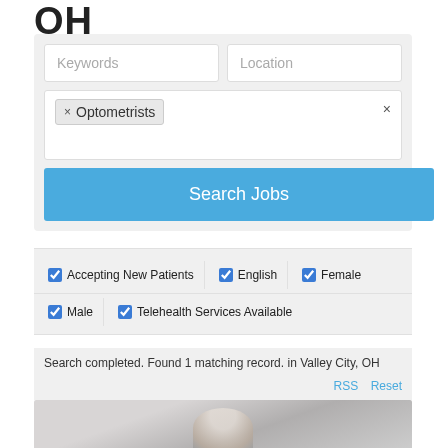OH
[Figure (screenshot): Web search form with Keywords and Location input fields, an Optometrists tag filter, a Search Jobs button, filter checkboxes for Accepting New Patients, English, Female, Male, Telehealth Services Available, search result text 'Search completed. Found 1 matching record. in Valley City, OH', RSS and Reset links, and a blurred photo at the bottom.]